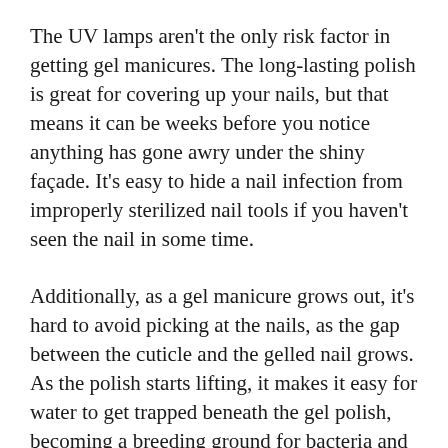The UV lamps aren't the only risk factor in getting gel manicures. The long-lasting polish is great for covering up your nails, but that means it can be weeks before you notice anything has gone awry under the shiny façade. It's easy to hide a nail infection from improperly sterilized nail tools if you haven't seen the nail in some time.
Additionally, as a gel manicure grows out, it's hard to avoid picking at the nails, as the gap between the cuticle and the gelled nail grows. As the polish starts lifting, it makes it easy for water to get trapped beneath the gel polish, becoming a breeding ground for bacteria and fungus growth.
The gel manicure growing out process also makes it tempting – and oddly satisfying – to remove the gel polish, which starts to look and feel like a fake nail.